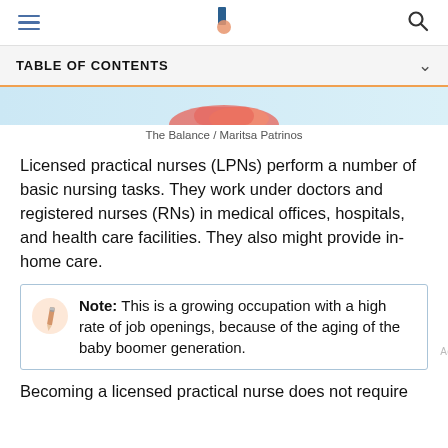Navigation bar with hamburger menu, The Balance logo, and search icon
TABLE OF CONTENTS
[Figure (illustration): Partial illustration showing a decorative image with light blue background and colorful shapes, cropped at top]
The Balance / Maritsa Patrinos
Licensed practical nurses (LPNs) perform a number of basic nursing tasks. They work under doctors and registered nurses (RNs) in medical offices, hospitals, and health care facilities. They also might provide in-home care.
Note: This is a growing occupation with a high rate of job openings, because of the aging of the baby boomer generation.
Becoming a licensed practical nurse does not require